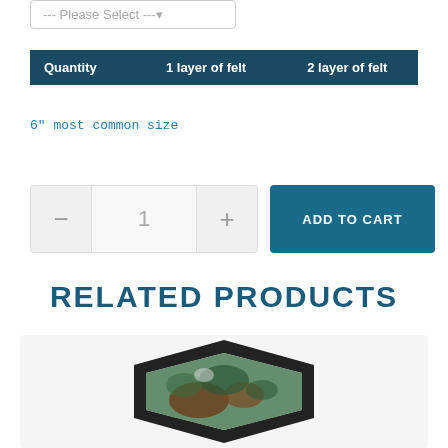| Quantity | 1 layer of felt | 2 layer of felt |
| --- | --- | --- |
6" most common size
[Figure (screenshot): Quantity selector with minus button, value of 1, and plus button]
[Figure (screenshot): ADD TO CART button in teal/dark blue]
RELATED PRODUCTS
[Figure (photo): Product photo showing a hexagonal piece with dark border and green/brown filling inside a light grey card]